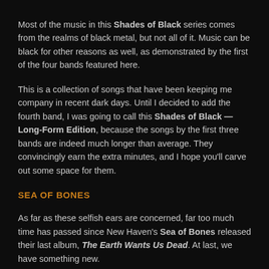Most of the music in this Shades of Black series comes from the realms of black metal, but not all of it. Music can be black for other reasons as well, as demonstrated by the first of the four bands featured here.
This is a collection of songs that have been keeping me company in recent dark days. Until I decided to add the fourth band, I was going to call this Shades of Black — Long-Form Edition, because the songs by the first three bands are indeed much longer than average. They convincingly earn the extra minutes, and I hope you'll carve out some space for them.
SEA OF BONES
As far as these selfish ears are concerned, far too much time has passed since New Haven's Sea of Bones released their last album, The Earth Wants Us Dead. At last, we have something new.
Continue reading »